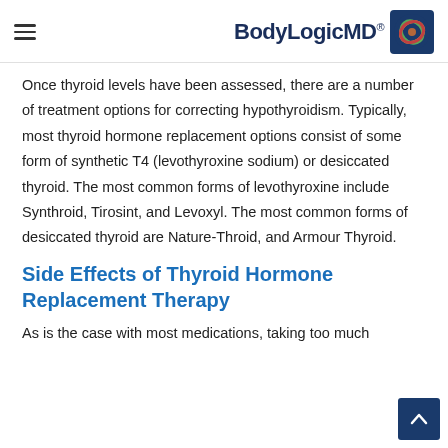BodyLogicMD®
Once thyroid levels have been assessed, there are a number of treatment options for correcting hypothyroidism. Typically, most thyroid hormone replacement options consist of some form of synthetic T4 (levothyroxine sodium) or desiccated thyroid. The most common forms of levothyroxine include Synthroid, Tirosint, and Levoxyl. The most common forms of desiccated thyroid are Nature-Throid, and Armour Thyroid.
Side Effects of Thyroid Hormone Replacement Therapy
As is the case with most medications, taking too much